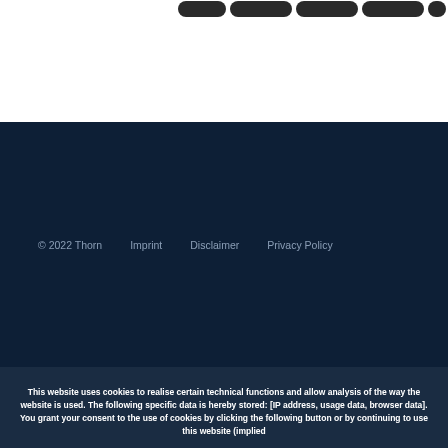© 2022 Thorn    Imprint    Disclaimer    Privacy Policy
This website uses cookies to realise certain technical functions and allow analysis of the way the website is used. The following specific data is hereby stored: [IP address, usage data, browser data]. You grant your consent to the use of cookies by clicking the following button or by continuing to use this website (implied